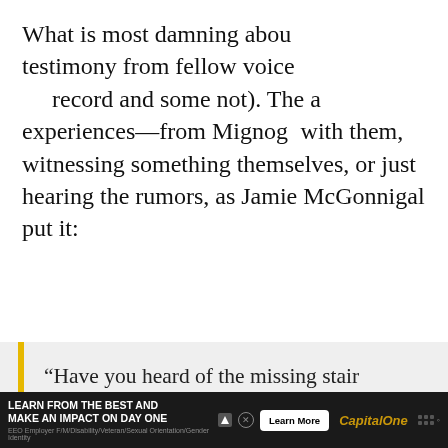What is most damning about the testimony from fellow voice actors (some on record and some not). The accounts of experiences—from Mignog with them, witnessing something themselves, or just hearing the rumors, as Jamie McGonnigal put it:
[Figure (screenshot): Video player overlay showing two people, with a play button in the center and 'UP' title visible at top right]
“Have you heard of the missing stair analogy? It’s basically what happens when many folks in an industry know about a certain person, and warn
[Figure (screenshot): Advertisement banner: LEARN FROM THE BEST AND MAKE AN IMPACT ON DAY ONE - Capital One - Learn More button]